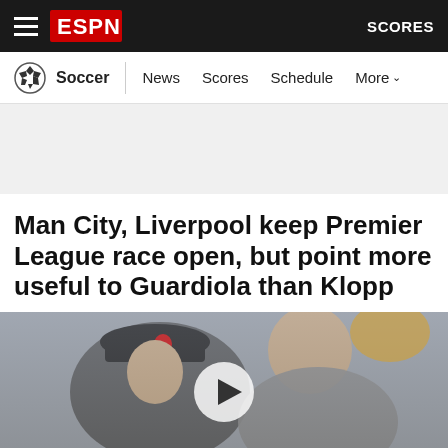ESPN - Soccer | News Scores Schedule More | SCORES
Man City, Liverpool keep Premier League race open, but point more useful to Guardiola than Klopp
[Figure (photo): Two soccer managers, one wearing a black Liverpool cap and black jacket, the other bald in a grey jacket, with a video play button overlay. Presumably Jürgen Klopp and Pep Guardiola.]